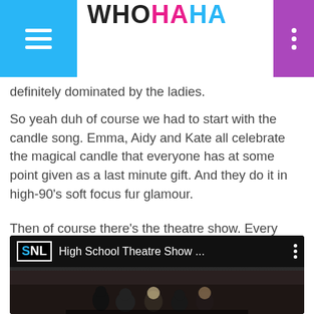WHOHAHA
definitely dominated by the ladies.
So yeah duh of course we had to start with the candle song. Emma, Aidy and Kate all celebrate the magical candle that everyone has at some point given as a last minute gift. And they do it in high-90's soft focus fur glamour.
Then of course there's the theatre show. Every time they do one of these we're like 'eh do we need another' and then every time we're like 'HOLY CRAP YES THIS IS AMAZING'. Emma's little weird genderless pixie cut is truly every theatre teen.
[Figure (screenshot): SNL YouTube video thumbnail showing 'High School Theatre Show ...' title with three-dot menu. Dark background with silhouettes of people.]